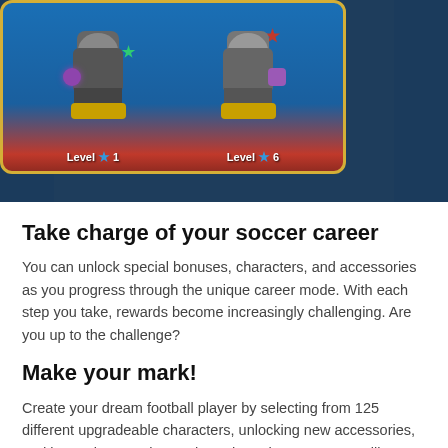[Figure (screenshot): Game screenshot showing two animated soccer characters at Level 1 and Level 6 on a blue card with gold border]
Take charge of your soccer career
You can unlock special bonuses, characters, and accessories as you progress through the unique career mode. With each step you take, rewards become increasingly challenging. Are you up to the challenge?
Make your mark!
Create your dream football player by selecting from 125 different upgradeable characters, unlocking new accessories, and improving your hero. Throughout the game, you will unlock new stadiums and gain more fans.